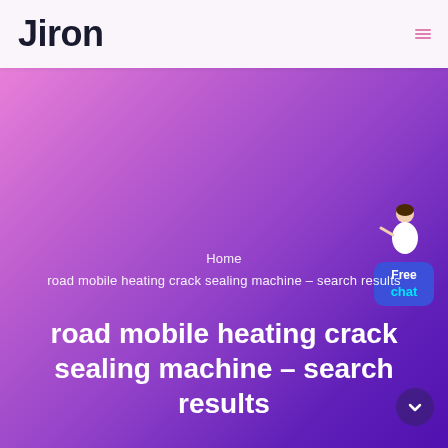Jiron
Home
road mobile heating crack sealing machine - search results
road mobile heating crack sealing machine - search results
[Figure (illustration): Customer service representative figure with Free chat bubble widget in top right of hero section]
[Figure (other): Dark circular scroll button at bottom right]